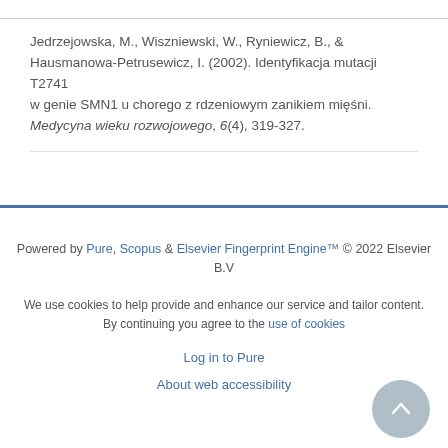Jedrzejowska, M., Wiszniewski, W., Ryniewicz, B., & Hausmanowa-Petrusewicz, I. (2002). Identyfikacja mutacji T2741 w genie SMN1 u chorego z rdzeniowym zanikiem mięsni. Medycyna wieku rozwojowego, 6(4), 319-327.
Powered by Pure, Scopus & Elsevier Fingerprint Engine™ © 2022 Elsevier B.V

We use cookies to help provide and enhance our service and tailor content. By continuing you agree to the use of cookies

Log in to Pure

About web accessibility